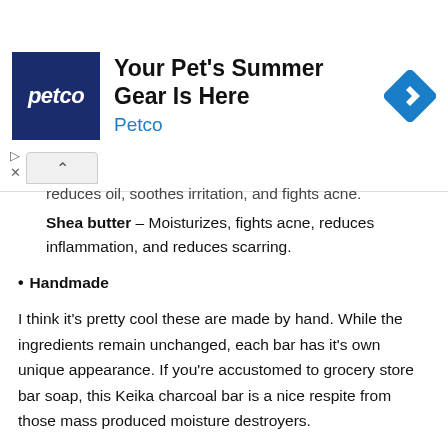[Figure (other): Petco advertisement banner with blue logo, text 'Your Pet's Summer Gear Is Here' and 'Petco', and a blue diamond-shaped navigation arrow icon]
reduces oil, soothes irritation, and fights acne.
Shea butter – Moisturizes, fights acne, reduces inflammation, and reduces scarring.
• Handmade
I think it's pretty cool these are made by hand. While the ingredients remain unchanged, each bar has it's own unique appearance. If you're accustomed to grocery store bar soap, this Keika charcoal bar is a nice respite from those mass produced moisture destroyers.
What I don't like:
Nothing. Great soap, great ingredients, great value.